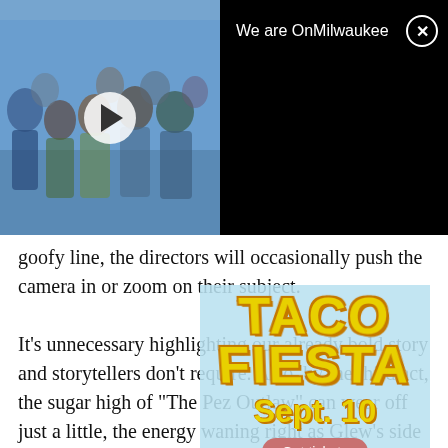[Figure (photo): Group photo of OnMilwaukee team members standing together, with a video play button overlay. Black bar on top right reading 'We are OnMilwaukee' with a close (X) button.]
goofy line, the directors will occasionally push the camera in or zoom on their subject.
It's unnecessary highlighting our already bold story and storytellers don't require. Also, by the third act, the sugar high of “The Pez Outlaw” can wear off just a little, the energy waning right as Glew’s side hustle does the same. But in general, the doc hits an ideal bright and buzzy vibe without overdoing it, silly and sweet without causing cavities.
[Figure (infographic): Taco Fiesta advertisement overlay showing 'TACO FIESTA Sept. 10' text in yellow bold font on light blue background, with a 'Get tickets' button, 'Henry Maier Festival Park' text, and food imagery at the bottom.]